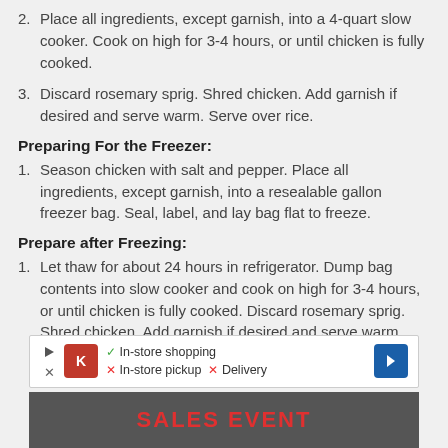2. Place all ingredients, except garnish, into a 4-quart slow cooker. Cook on high for 3-4 hours, or until chicken is fully cooked.
3. Discard rosemary sprig. Shred chicken. Add garnish if desired and serve warm. Serve over rice.
Preparing For the Freezer:
1. Season chicken with salt and pepper. Place all ingredients, except garnish, into a resealable gallon freezer bag. Seal, label, and lay bag flat to freeze.
Prepare after Freezing:
1. Let thaw for about 24 hours in refrigerator. Dump bag contents into slow cooker and cook on high for 3-4 hours, or until chicken is fully cooked. Discard rosemary sprig. Shred chicken. Add garnish if desired and serve warm. Serve over rice.
[Figure (infographic): Advertisement banner with Kroger logo, checkmark for In-store shopping, X for In-store pickup, X for Delivery, and a blue arrow icon]
[Figure (photo): Partial image of a car sales event with red text reading SALES EVENT]